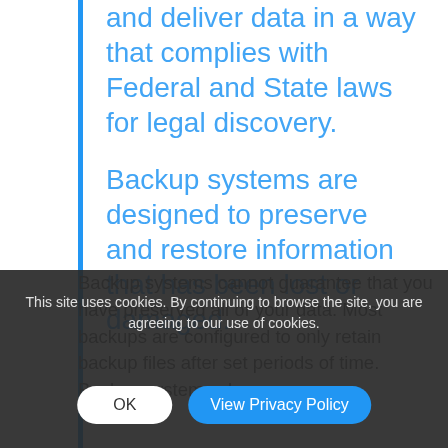and deliver data in a way that complies with Federal and State laws for legal discovery.

Backup systems are designed to preserve and restore information that has been lost or damaged.
In Vault, you can retrieve individual items and small batches of data. Doing so, however, does not restore the data to its prior location. Nor does Vault preserve meta data, such as date last modified and permissions.
Backup systems cannot guarantee that you have preserved all of your data. Most backups are configured to only retain backup files after set periods of time. Backup systems also prune
This site uses cookies. By continuing to browse the site, you are agreeing to our use of cookies.